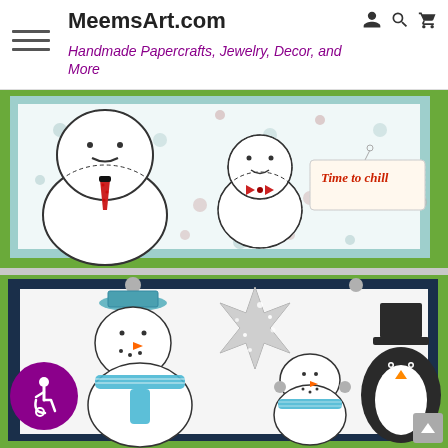MeemsArt.com — Handmade Papercrafts, Jewelry, Decor, and More
[Figure (photo): Handmade greeting card with two stamped snowmen figures wearing a tie and bow tie, on a polka-dot background, with a tag reading 'Time to chill']
[Figure (photo): Handmade greeting card with stamped snowman wearing a blue striped scarf and hat, a silver glitter snowflake, a smaller snowman, and a penguin wearing a top hat, on a dark navy and white card background]